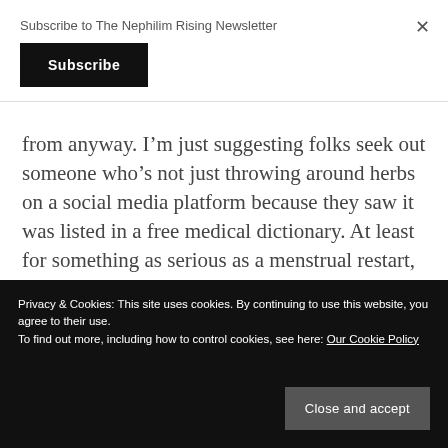Subscribe to The Nephilim Rising Newsletter
Subscribe
from anyway. I'm just suggesting folks seek out someone who's not just throwing around herbs on a social media platform because they saw it was listed in a free medical dictionary. At least for something as serious as a menstrual restart, abortion, or "uterine flush."
Privacy & Cookies: This site uses cookies. By continuing to use this website, you agree to their use.
To find out more, including how to control cookies, see here: Our Cookie Policy
Close and accept